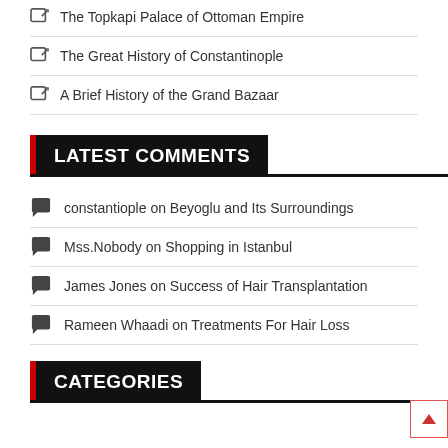The Topkapi Palace of Ottoman Empire
The Great History of Constantinople
A Brief History of the Grand Bazaar
LATEST COMMENTS
constantiople on Beyoglu and Its Surroundings
Mss.Nobody on Shopping in Istanbul
James Jones on Success of Hair Transplantation
Rameen Whaadi on Treatments For Hair Loss
CATEGORIES